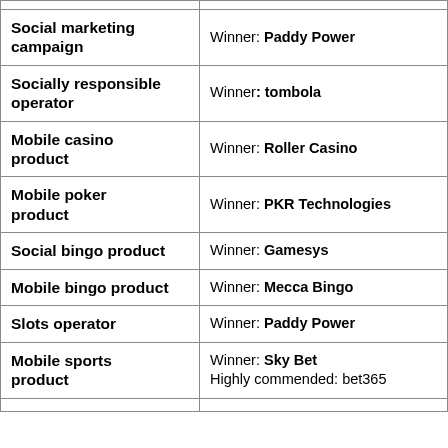| Category | Result |
| --- | --- |
| Social marketing campaign | Winner: Paddy Power |
| Socially responsible operator | Winner: tombola |
| Mobile casino product | Winner: Roller Casino |
| Mobile poker product | Winner: PKR Technologies |
| Social bingo product | Winner: Gamesys |
| Mobile bingo product | Winner: Mecca Bingo |
| Slots operator | Winner: Paddy Power |
| Mobile sports product | Winner: Sky Bet
Highly commended: bet365 |